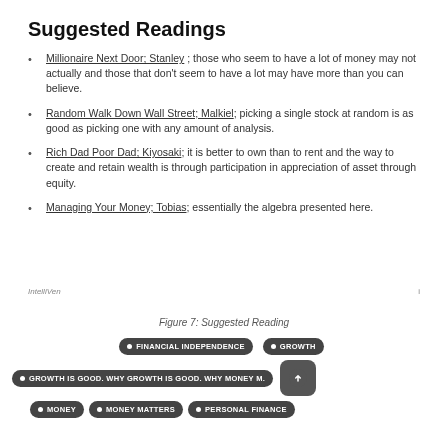Suggested Readings
Millionaire Next Door; Stanley; those who seem to have a lot of money may not actually and those that don't seem to have a lot may have more than you can believe.
Random Walk Down Wall Street; Malkiel; picking a single stock at random is as good as picking one with any amount of analysis.
Rich Dad Poor Dad; Kiyosaki; it is better to own than to rent and the way to create and retain wealth is through participation in appreciation of asset through equity.
Managing Your Money; Tobias; essentially the algebra presented here.
IntelliVen                                                              i
Figure 7: Suggested Reading
[Figure (infographic): Tag cloud with dark pill-shaped tags: FINANCIAL INDEPENDENCE, GROWTH, GROWTH IS GOOD. WHY GROWTH IS GOOD. WHY MONEY M., MONEY, MONEY MATTERS, PERSONAL FINANCE. An upload/arrow button on the right.]